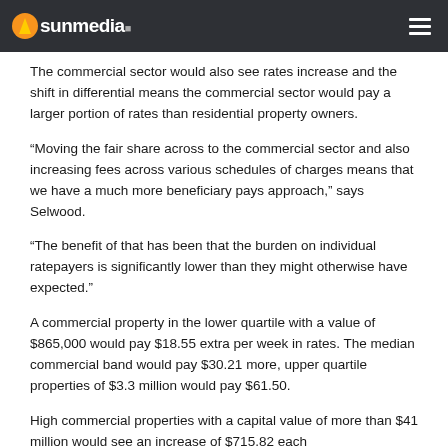sunmedia
The commercial sector would also see rates increase and the shift in differential means the commercial sector would pay a larger portion of rates than residential property owners.
“Moving the fair share across to the commercial sector and also increasing fees across various schedules of charges means that we have a much more beneficiary pays approach,” says Selwood.
“The benefit of that has been that the burden on individual ratepayers is significantly lower than they might otherwise have expected.”
A commercial property in the lower quartile with a value of $865,000 would pay $18.55 extra per week in rates. The median commercial band would pay $30.21 more, upper quartile properties of $3.3 million would pay $61.50.
High commercial properties with a capital value of more than $41 million would see an increase of $715.82 each